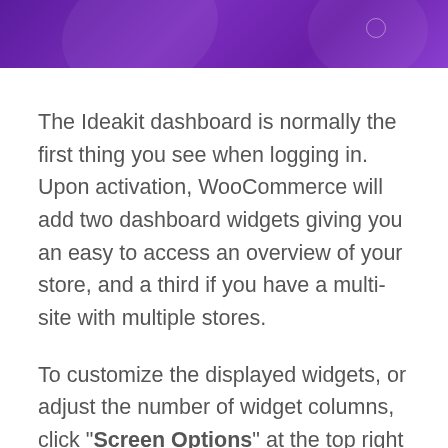[Figure (illustration): Purple gradient banner header with decorative circular shape and a small circle outline on the right side]
The Ideakit dashboard is normally the first thing you see when logging in. Upon activation, WooCommerce will add two dashboard widgets giving you an easy to access an overview of your store, and a third if you have a multi-site with multiple stores.
To customize the displayed widgets, or adjust the number of widget columns, click "Screen Options" at the top right of the screen. The number of columns...